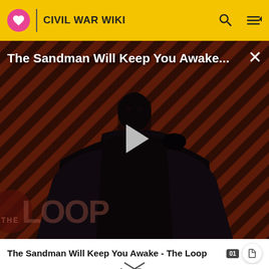CIVIL WAR WIKI
[Figure (screenshot): Video thumbnail overlay showing 'The Sandman Will Keep You Awake...' title with a dark-cloaked figure against diagonal striped background, with THE LOOP watermark and a play button in the center]
The Sandman Will Keep You Awake - The Loop
|  | In office |  |
|  | December 2, 1861 – March 3, 1863 |  |
| Preceded by | (none) |  |